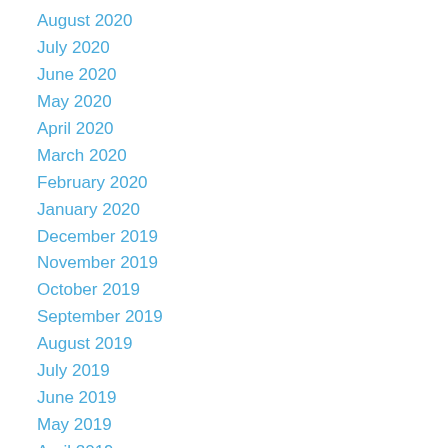August 2020
July 2020
June 2020
May 2020
April 2020
March 2020
February 2020
January 2020
December 2019
November 2019
October 2019
September 2019
August 2019
July 2019
June 2019
May 2019
April 2019
March 2019
February 2019
January 2019